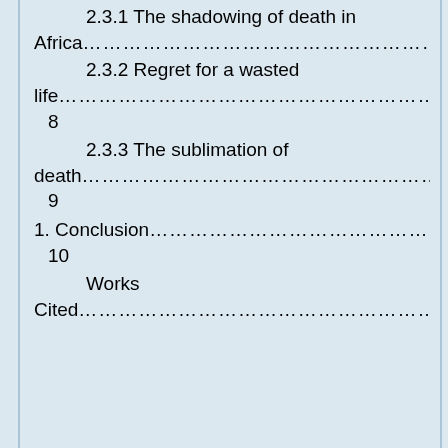2.3.1 The shadowing of death in Africa…………………………………………7
2.3.2 Regret for a wasted life…………………………………………………………8
2.3.3 The sublimation of death…………………………………………………………9
1. Conclusion………………………………………………………………………………10
Works Cited………………………………………………………………………………